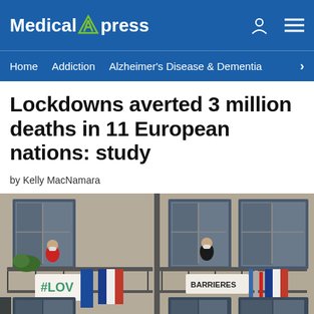Medical Xpress
Home   Addiction   Alzheimer's Disease & Dementia   >
Lockdowns averted 3 million deaths in 11 European nations: study
by Kelly MacNamara
[Figure (photo): People on apartment balconies in France during lockdown, holding signs including '#LOVE' and 'BARRIERES', with French flags hanging from balcony railings.]